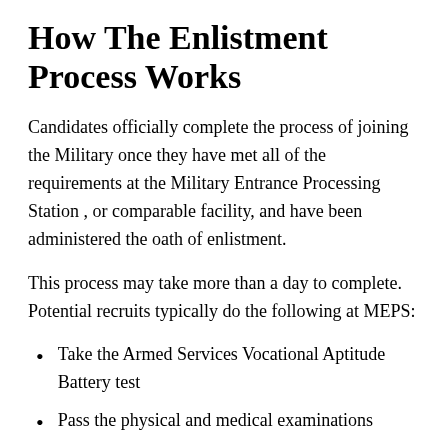How The Enlistment Process Works
Candidates officially complete the process of joining the Military once they have met all of the requirements at the Military Entrance Processing Station , or comparable facility, and have been administered the oath of enlistment.
This process may take more than a day to complete. Potential recruits typically do the following at MEPS:
Take the Armed Services Vocational Aptitude Battery test
Pass the physical and medical examinations